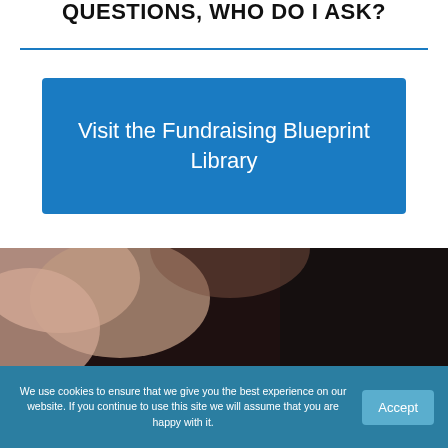QUESTIONS, WHO DO I ASK?
[Figure (illustration): Blue clickable button/link box with white text reading 'Visit the Fundraising Blueprint Library']
[Figure (photo): Close-up photo of a hand/fingers holding a phone or device, dark background, with a white overlay box showing 'SUBSCRIBE TO']
SUBSCRIBE TO
We use cookies to ensure that we give you the best experience on our website. If you continue to use this site we will assume that you are happy with it.
Accept